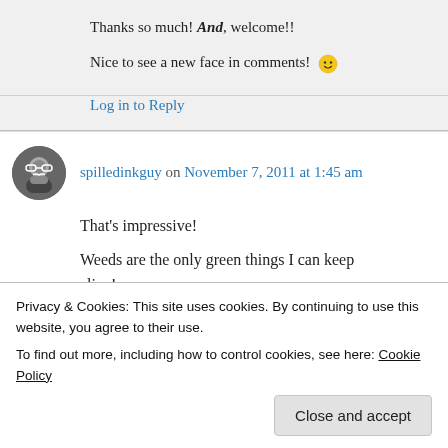Thanks so much! And, welcome!! Nice to see a new face in comments! 🙂
Log in to Reply
spilledinkguy on November 7, 2011 at 1:45 am
That's impressive! Weeds are the only green things I can keep alive! 😀
Privacy & Cookies: This site uses cookies. By continuing to use this website, you agree to their use. To find out more, including how to control cookies, see here: Cookie Policy
Close and accept